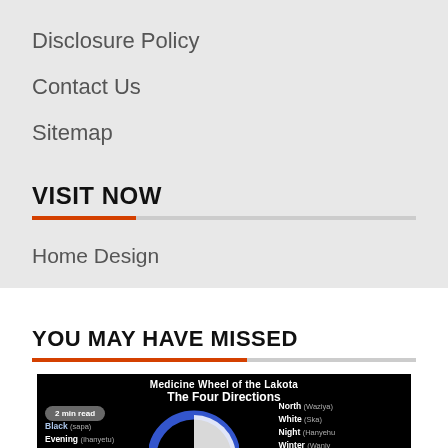Disclosure Policy
Contact Us
Sitemap
VISIT NOW
Home Design
YOU MAY HAVE MISSED
[Figure (infographic): Medicine Wheel of the Lakota - The Four Directions infographic showing a blue circle on black background with directional associations listed on left and right sides. Left side lists: Black (Sapa), Evening (Ihanyetu), Autumn (Ptanyetu), Body (Taman), Adulthood (Tankake), Bravery. Right side lists: North (Waziya), White (Ska), Night (Hanyetu), Winter (Waniy...), Mind (Tawaci...), Old Age (O'hunkesi...), Wisdom (Woksape). A '2 min read' pill label appears in upper left.]